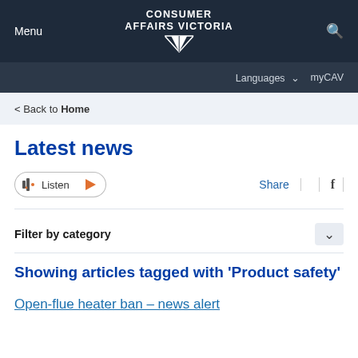Menu | CONSUMER AFFAIRS VICTORIA | Search
Languages  myCAV
< Back to Home
Latest news
Listen | Share | f
Filter by category
Showing articles tagged with 'Product safety'
Open-flue heater ban – news alert